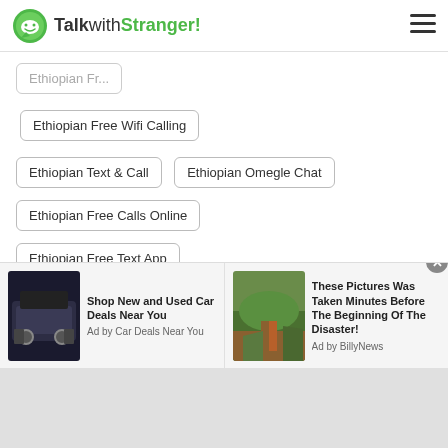TalkwithStranger!
Ethiopian Free Wifi Calling
Ethiopian Text & Call
Ethiopian Omegle Chat
Ethiopian Free Calls Online
Ethiopian Free Text App
Ethiopian Phone Chat Lines
Ethiopian Flirt for Free
Ethiopian Omegle Talk to Strangers
Ethiopian Free Phone Call
Ethiopian Chats
[Figure (screenshot): Advertisement banner: Shop New and Used Car Deals Near You - Ad by Car Deals Near You, with SUV image]
[Figure (screenshot): Advertisement banner: These Pictures Was Taken Minutes Before The Beginning Of The Disaster! - Ad by BillyNews, with outdoor image]